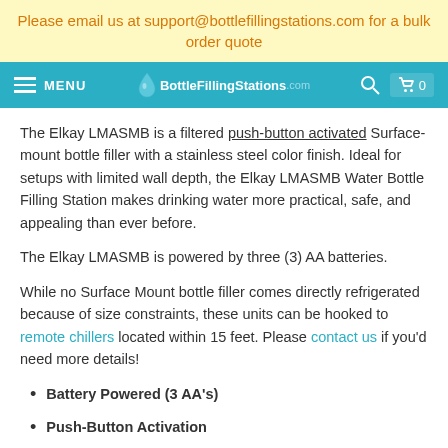Please email us at support@bottlefillingstations.com for a bulk order quote
MENU  BottleFillingStations.com  [search icon] [cart icon] 0
The Elkay LMASMB is a filtered push-button activated Surface-mount bottle filler with a stainless steel color finish. Ideal for setups with limited wall depth, the Elkay LMASMB Water Bottle Filling Station makes drinking water more practical, safe, and appealing than ever before.
The Elkay LMASMB is powered by three (3) AA batteries.
While no Surface Mount bottle filler comes directly refrigerated because of size constraints, these units can be hooked to remote chillers located within 15 feet. Please contact us if you'd need more details!
Battery Powered (3 AA's)
Push-Button Activation
ADA compliant design